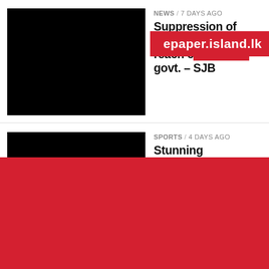[Figure (photo): Black thumbnail image for news article 1]
NEWS / 7 days ago
Suppression of dissent won't help reach consensus with govt. – SJB
[Figure (photo): Red watermark overlay: epaper.island.lk]
[Figure (photo): Black thumbnail image for sports article]
SPORTS / 4 days ago
Stunning Somaratne pulls off sensational win
[Figure (photo): Black thumbnail image for midweek review article]
MIDWEEK REVIEW / 6 days ago
Corruption: The House in a bind